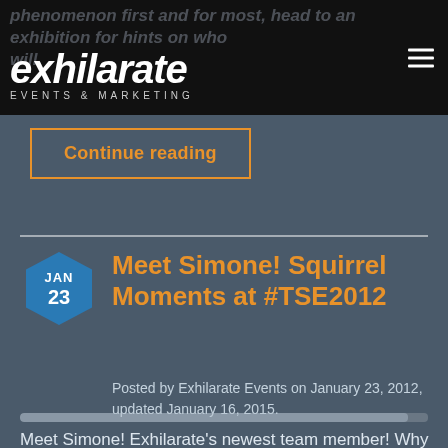exhilarate EVENTS & MARKETING
phenomenon first and for most, head to an exhibition for hints on who will
Continue reading
Meet Simone! Squirrel Moments at #TSE2012
Posted by Exhilarate Events on January 23, 2012, updated January 16, 2015.
Meet Simone! Exhilarate's newest team member! Why did we hire a squirrel as a brand